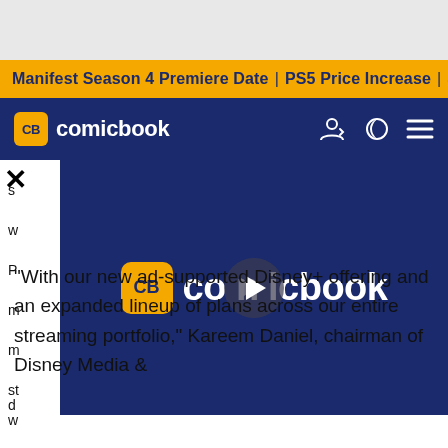Manifest Season 4 Premiere Date | PS5 Price Increase | Jon M
[Figure (logo): ComicBook.com navigation bar with CB yellow logo badge and white text 'comicbook', with user icon, sun/moon icon, and hamburger menu]
[Figure (screenshot): ComicBook.com video player overlay on dark navy background showing CB yellow badge logo and 'comicbook' text with a play button circle in the center]
"With our new ad-supported Disney+ offering and an expanded lineup of plans across our entire streaming portfolio," Kareem Daniel, chairman of Disney Media &